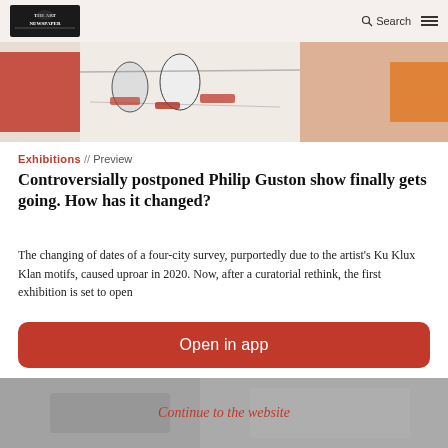The Art Newspaper — Search / Menu
[Figure (photo): Partial view of a colorful painting with red, orange, and cream tones, abstract figures.]
Exhibitions // Preview
Controversially postponed Philip Guston show finally gets going. How has it changed?
The changing of dates of a four-city survey, purportedly due to the artist's Ku Klux Klan motifs, caused uproar in 2020. Now, after a curatorial rethink, the first exhibition is set to open
Open in app
[Figure (photo): Blurred background image beneath the 'Continue to the website' overlay.]
Continue to the website